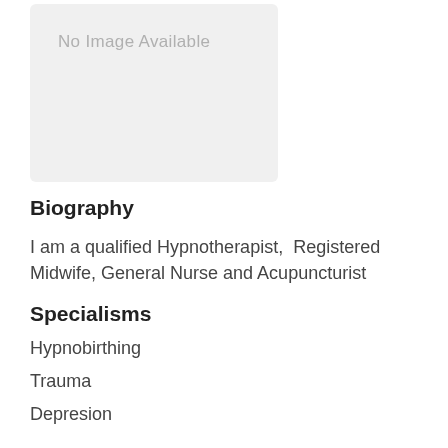[Figure (photo): Placeholder box with text 'No Image Available' on a light gray background]
Biography
I am a qualified Hypnotherapist,  Registered Midwife, General Nurse and Acupuncturist
Specialisms
Hypnobirthing
Trauma
Depresion